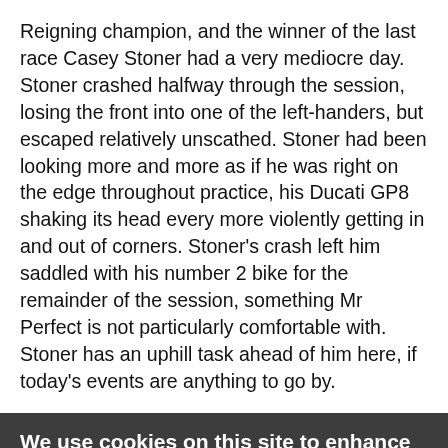Reigning champion, and the winner of the last race Casey Stoner had a very mediocre day. Stoner crashed halfway through the session, losing the front into one of the left-handers, but escaped relatively unscathed. Stoner had been looking more and more as if he was right on the edge throughout practice, his Ducati GP8 shaking its head every more violently getting in and out of corners. Stoner's crash left him saddled with his number 2 bike for the remainder of the session, something Mr Perfect is not particularly comfortable with. Stoner has an uphill task ahead of him here, if today's events are anything to go by.
We use cookies on this site to enhance your user experience
By clicking any link on this page you are giving your consent for us to set cookies. No, give me more info
OK, I agree